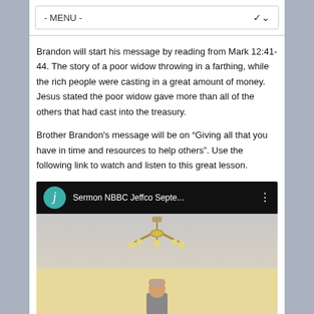- MENU -
Brandon will start his message by reading from Mark 12:41-44. The story of a poor widow throwing in a farthing, while the rich people were casting in a great amount of money. Jesus stated the poor widow gave more than all of the others that had cast into the treasury.
Brother Brandon's message will be on “Giving all that you have in time and resources to help others”. Use the following link to watch and listen to this great lesson.
[Figure (screenshot): Embedded video thumbnail showing 'Sermon NBBC Jeffco Septe...' with a teal circle icon containing the letter 'j', three-dot menu icon, and below a still image of a chandelier on a ceiling with a person visible at the bottom and a red element.]